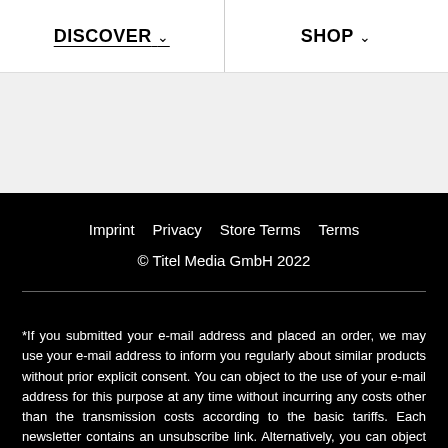DISCOVER   SHOP
[Figure (other): Gray empty content area]
Imprint   Privacy   Store Terms   Terms
© Titel Media GmbH 2022
*If you submitted your e-mail address and placed an order, we may use your e-mail address to inform you regularly about similar products without prior explicit consent. You can object to the use of your e-mail address for this purpose at any time without incurring any costs other than the transmission costs according to the basic tariffs. Each newsletter contains an unsubscribe link. Alternatively, you can object to receiving the newsletter at any time